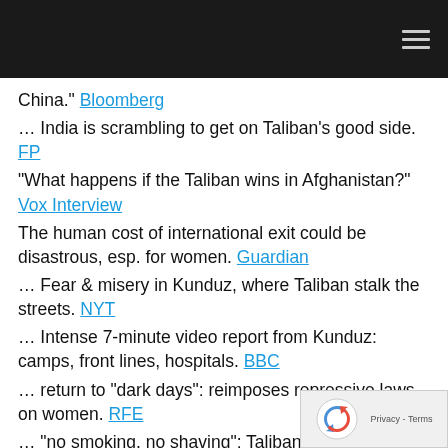[navigation bar with hamburger menu]
China." Bloomberg
… India is scrambling to get on Taliban's good side. FP
"What happens if the Taliban wins in Afghanistan?" Vox Interview
The human cost of international exit could be disastrous, esp. for women. Guardian
… Fear & misery in Kunduz, where Taliban stalk the streets. NYT
… Intense 7-minute video report from Kunduz: camps, front lines, hospitals. BBC
… return to "dark days": reimposes repressive laws on women. RFE
… "no smoking, no shaving": Taliban restore rules in seized territory. DAWN
… also, "marry your daughters to the Taliban" and one leaves home at night.